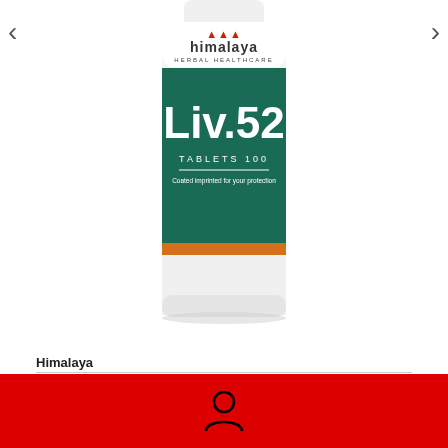[Figure (photo): Himalaya Herbal Healthcare Liv.52 Tablets 100 bottle - white plastic container with green label showing 'Liv.52 TABLETS 100 Coated imprinted for your protection']
Himalaya
Himalaya Liv.52 (100 Tablets)
[Figure (other): Social share buttons: Facebook Share button and Twitter Tweet button]
Available: In Stock
[Figure (other): Red footer bar with user/account icon]